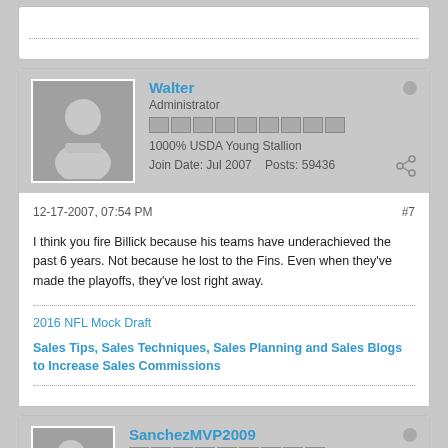Walter
Administrator
1000% USDA Young Stallion
Join Date: Jul 2007    Posts: 59436
12-17-2007, 07:54 PM   #7
I think you fire Billick because his teams have underachieved the past 6 years. Not because he lost to the Fins. Even when they've made the playoffs, they've lost right away.
2016 NFL Mock Draft
Sales Tips, Sales Techniques, Sales Planning and Sales Blogs to Increase Sales Commissions
SanchezMVP2009